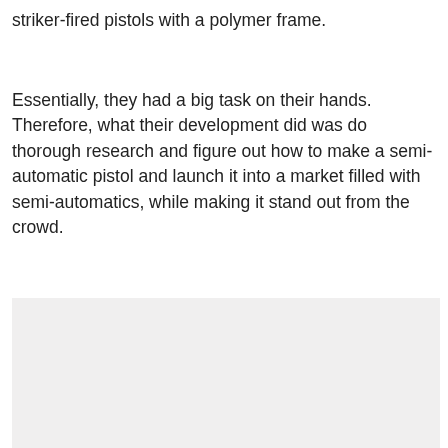striker-fired pistols with a polymer frame.
Essentially, they had a big task on their hands. Therefore, what their development did was do thorough research and figure out how to make a semi-automatic pistol and launch it into a market filled with semi-automatics, while making it stand out from the crowd.
[Figure (photo): Light gray rectangular image placeholder area]